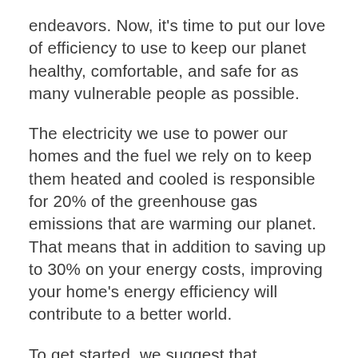endeavors. Now, it's time to put our love of efficiency to use to keep our planet healthy, comfortable, and safe for as many vulnerable people as possible.
The electricity we use to power our homes and the fuel we rely on to keep them heated and cooled is responsible for 20% of the greenhouse gas emissions that are warming our planet. That means that in addition to saving up to 30% on your energy costs, improving your home's energy efficiency will contribute to a better world.
To get started, we suggest that homeowners work through a home energy audit checklist. Home